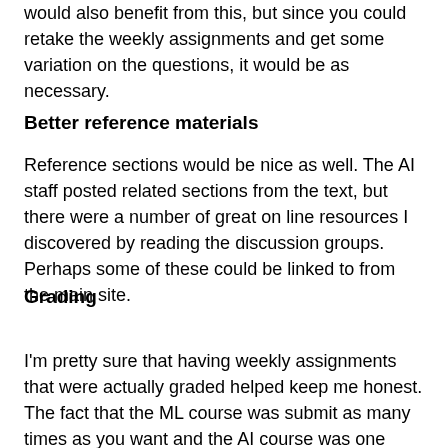would also benefit from this, but since you could retake the weekly assignments and get some variation on the questions, it would be as necessary.
Better reference materials
Reference sections would be nice as well. The AI staff posted related sections from the text, but there were a number of great on line resources I discovered by reading the discussion groups. Perhaps some of these could be linked to from the main site.
Grading
I'm pretty sure that having weekly assignments that were actually graded helped keep me honest.  The fact that the ML course was submit as many times as you want and the AI course was one shot didn't matter. I put the same effort into both classes. In a way I preferred the ML course.  I was frustrated a few times when I mis-entered something on a homework or forgot to convert units and got a lower grade than I thought I should have, but in a way I think that was a...